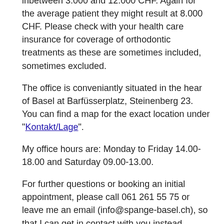will vary widely too. Mostly they are situated inbetween 3.000 and 12.000 CHF. Again for the average patient they might result at 8.000 CHF. Please check with your health care insurance for coverage of orthodontic treatments as these are sometimes included, sometimes excluded.
The office is conveniantly situated in the hear of Basel at Barfüsserplatz, Steinenberg 23. You can find a map for the exact location under "Kontakt/Lage".
My office hours are: Monday to Friday 14.00-18.00 and Saturday 09.00-13.00.
For further questions or booking an initial appointment, please call 061 261 55 75 or leave me an email (info@spange-basel.ch), so that I can get in contact with you instead.